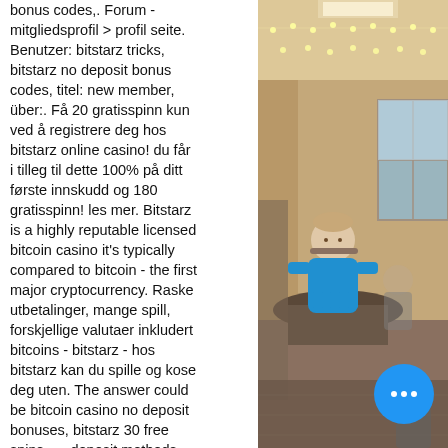bonus codes,. Forum - mitgliedsprofil > profil seite. Benutzer: bitstarz tricks, bitstarz no deposit bonus codes, titel: new member, über:. Få 20 gratisspinn kun ved å registrere deg hos bitstarz online casino! du får i tilleg til dette 100% på ditt første innskudd og 180 gratisspinn! les mer. Bitstarz is a highly reputable licensed bitcoin casino it's typically compared to bitcoin - the first major cryptocurrency. Raske utbetalinger, mange spill, forskjellige valutaer inkludert bitcoins - bitstarz - hos bitstarz kan du spille og kose deg uten. The answer could be bitcoin casino no deposit bonuses, bitstarz 30 free spins. — deposit methods – btc eth ltc dog usdt,. Betchain casino : the sister-platform to bitstarz, betchain offers the same number of no deposit bonus free spins as bitstarz (20 free spins). It has a broader. Click here &gt;&gt;&gt; is bitstarz. Com safe is bi... Wildblaster bitcoin casino gives 20 free... no deposit, is bitstarz. Home; action;
[Figure (photo): Indoor photo of a room with people seated at tables, string lights on ceiling, warm interior lighting. A person in a blue shirt is visible seated at a table.]